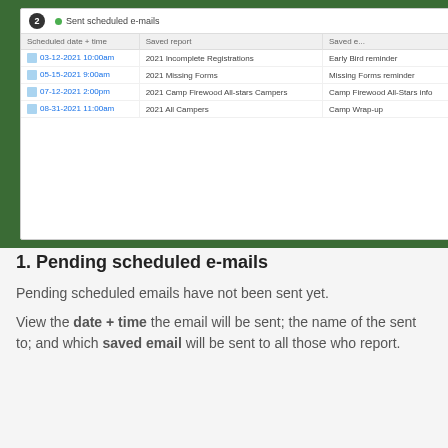[Figure (screenshot): Screenshot of a web application showing a 'Sent scheduled e-mails' section with a badge number 2 and a table listing scheduled emails with columns: Scheduled date + time, Saved report, Saved e... The table has 4 rows of scheduled email data including dates in 2021.]
1. Pending scheduled e-mails
Pending scheduled emails have not been sent yet.
View the date + time the email will be sent; the name of the sent to; and which saved email will be sent to all those who report.